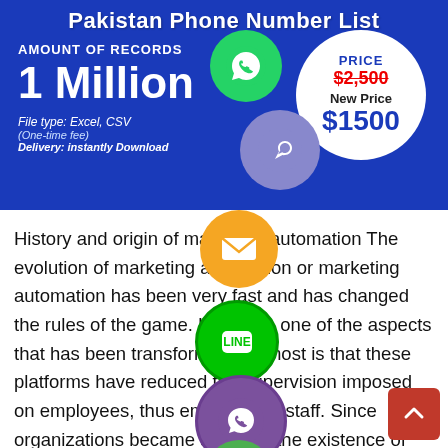[Figure (infographic): Pakistan Phone Number List promotional banner. Blue background. Shows 'AMOUNT OF RECORDS: 1 Million', File type: Excel, CSV, (One-time fee), Delivery: instantly Download. Price circle: PRICE $2,500 (strikethrough), New Price $1500. WhatsApp and phone icons overlaid.]
History and origin of marketing automation The evolution of marketing automation or marketing automation has been very fast and has changed the rules of the game. However, one of the aspects that has been transformed the most is that these platforms have reduced the supervision imposed on employees, thus empowering staff. Since organizations became aware of the existence of marketing as a way of directing their products to potential customers